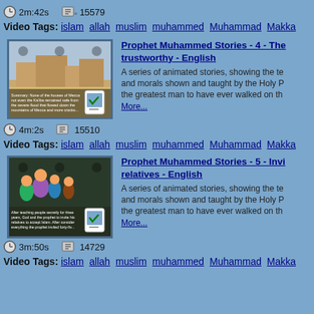[Figure (screenshot): Video thumbnail showing animated scene for Prophet Muhammed Stories episode 4]
Prophet Muhammed Stories - 4 - The trustworthy - English
A series of animated stories, showing the teachings and morals shown and taught by the Holy Prophet, the greatest man to have ever walked on th... More...
4m:2s   15510
Video Tags: islam  allah  muslim  muhammed  Muhammad  Makka
[Figure (screenshot): Video thumbnail showing animated scene for Prophet Muhammed Stories episode 5]
Prophet Muhammed Stories - 5 - Inviting relatives - English
A series of animated stories, showing the teachings and morals shown and taught by the Holy Prophet, the greatest man to have ever walked on th... More...
3m:50s   14729
Video Tags: islam  allah  muslim  muhammed  Muhammad  Makka